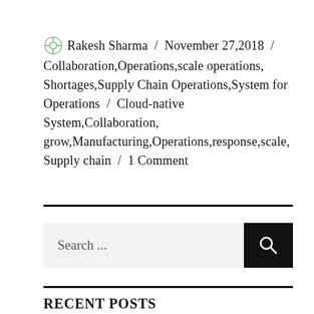Rakesh Sharma / November 27,2018 / Collaboration,Operations,scale operations,Shortages,Supply Chain Operations,System for Operations / Cloud-native System,Collaboration,grow,Manufacturing,Operations,response,scale,Supply chain / 1 Comment
[Figure (other): Search bar with input field and search button]
RECENT POSTS